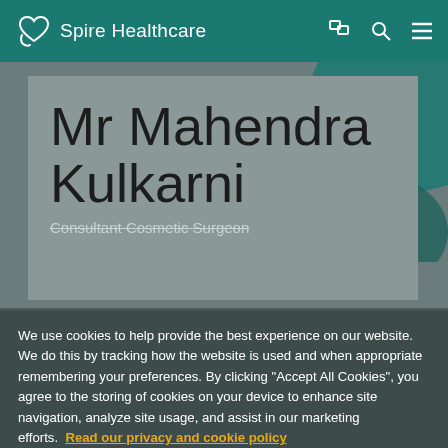Spire Healthcare
Mr Mahendra Kulkarni
Consultant Cosmetic Surgeon
We use cookies to help provide the best experience on our website. We do this by tracking how the website is used and when appropriate remembering your preferences. By clicking "Accept All Cookies", you agree to the storing of cookies on your device to enhance site navigation, analyze site usage, and assist in our marketing efforts.  Read our privacy and cookie policy